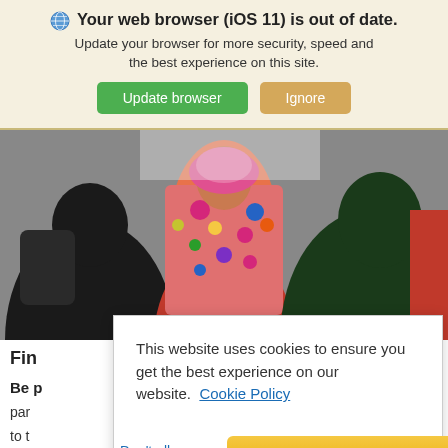Your web browser (iOS 11) is out of date.
Update your browser for more security, speed and the best experience on this site.
Update browser  Ignore
[Figure (photo): Crowd of people from behind, one person wearing a colorful patterned top visible in the center]
Fin
Be p
par
to t
Extc
This website uses cookies to ensure you get the best experience on our website. Cookie Policy
Don't allow cookies  Allow cookies